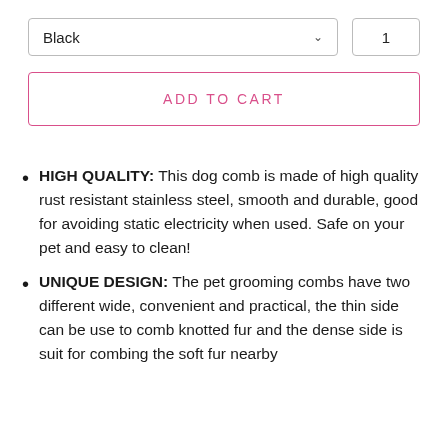[Figure (screenshot): Dropdown selector showing 'Black' with chevron, and quantity box showing '1']
ADD TO CART
HIGH QUALITY: This dog comb is made of high quality rust resistant stainless steel, smooth and durable, good for avoiding static electricity when used. Safe on your pet and easy to clean!
UNIQUE DESIGN: The pet grooming combs have two different wide, convenient and practical, the thin side can be use to comb knotted fur and the dense side is suit for combing the soft fur nearby